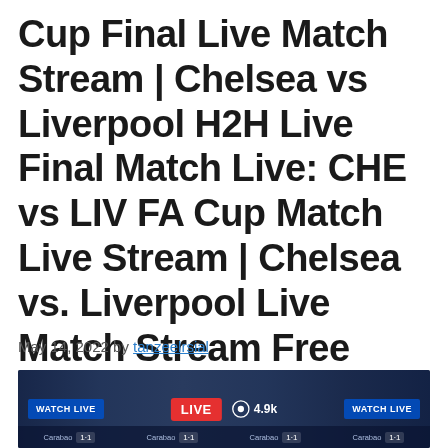Cup Final Live Match Stream | Chelsea vs Liverpool H2H Live Final Match Live: CHE vs LIV FA Cup Match Live Stream | Chelsea vs. Liverpool Live Match Stream Free
May 14, 2022 by tanzeelrsial
[Figure (screenshot): A dark banner showing a live football match stream. Contains 'WATCH LIVE' buttons on left and right, a red 'LIVE' badge in the center, an eye icon with '4.9k' view count, and a score strip at the bottom with team abbreviations and scores.]